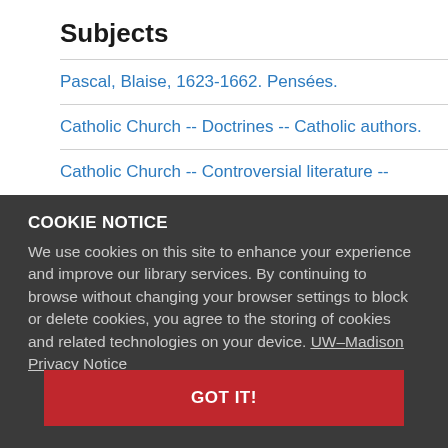Subjects
Pascal, Blaise, 1623-1662. Pensées.
Catholic Church -- Doctrines -- Catholic authors.
Catholic Church -- Controversial literature -- Catholic authors.
COOKIE NOTICE
We use cookies on this site to enhance your experience and improve our library services. By continuing to browse without changing your browser settings to block or delete cookies, you agree to the storing of cookies and related technologies on your device. UW–Madison Privacy Notice
GOT IT!